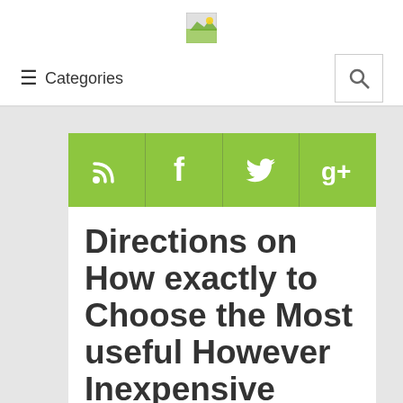[Figure (logo): Small green landscape/image logo centered at top]
☰ Categories [search icon]
[Figure (infographic): Green social media bar with RSS, Facebook, Twitter, and Google+ icons]
Directions on How exactly to Choose the Most useful However Inexpensive